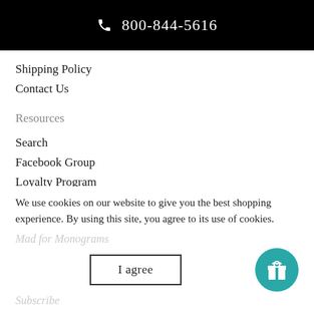800-844-5616
Shipping Policy
Contact Us
Resources
Search
Facebook Group
Loyalty Program
Become an Ambassador
Showcase Your Photos
Terms of Service
Refund policy
We use cookies on our website to give you the best shopping experience. By using this site, you agree to its use of cookies.
Mad for Monograms
I agree
Subscribe